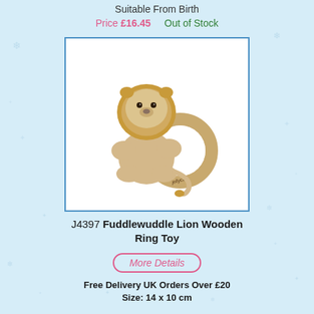Suitable From Birth
Price £16.45    Out of Stock
[Figure (photo): Jellycat Fuddlewuddle Lion Wooden Ring Toy — a fluffy beige stuffed lion with golden mane holding a round wooden teething ring branded 'jellycat']
J4397 Fuddlewuddle Lion Wooden Ring Toy
More Details
Free Delivery UK Orders Over £20
Size: 14 x 10 cm